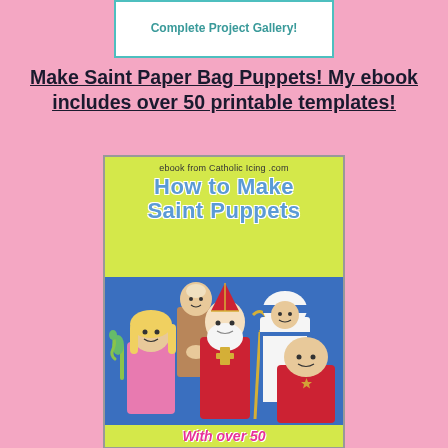[Figure (illustration): Top banner with cupcake logo and text 'Complete Project Gallery!' in teal on white background with teal border]
Make Saint Paper Bag Puppets! My ebook includes over 50 printable templates!
[Figure (illustration): Book cover for 'How to Make Saint Puppets' ebook from Catholic Icing .com. Yellow-green top band with ebook title in blue bubble font, blue bottom section showing paper bag puppet figures of various saints including a monk, bishop with red vestments and cross, female saint with blonde hair, nun in white habit, and another saint puppet. Bottom yellow band says 'With over 50']